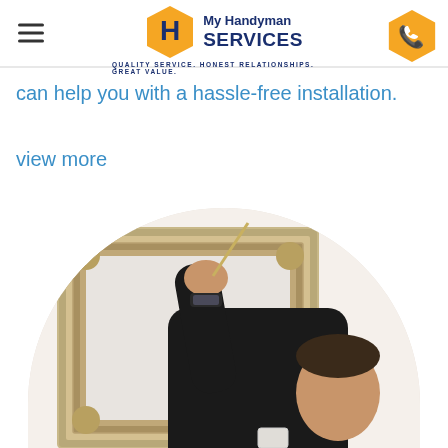My Handyman SERVICES — QUALITY SERVICE. HONEST RELATIONSHIPS. GREAT VALUE.
can help you with a hassle-free installation.
view more
[Figure (photo): A man in a black hoodie installing or hanging a large ornate silver-framed mirror on a white wall, reaching up with one hand holding a tool, wearing a watch. The scene is inside a bright room with pillows visible in the background.]